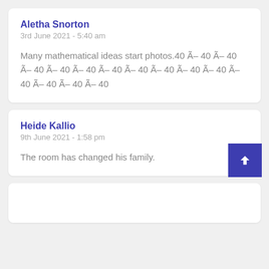Aletha Snorton
3rd June 2021 - 5:40 am
Many mathematical ideas start photos.40 Ã– 40 Ã– 40 Ã– 40 Ã– 40 Ã– 40 Ã– 40 Ã– 40 Ã– 40 Ã– 40 Ã– 40 Ã– 40 Ã– 40 Ã– 40 Ã– 40
Heide Kallio
9th June 2021 - 1:58 pm
The room has changed his family.